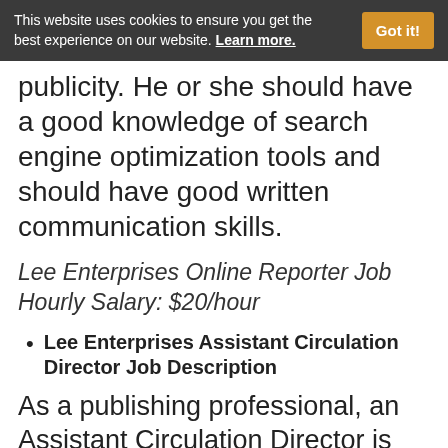This website uses cookies to ensure you get the best experience on our website. Learn more.
publicity. He or she should have a good knowledge of search engine optimization tools and should have good written communication skills.
Lee Enterprises Online Reporter Job Hourly Salary: $20/hour
Lee Enterprises Assistant Circulation Director Job Description
As a publishing professional, an Assistant Circulation Director is